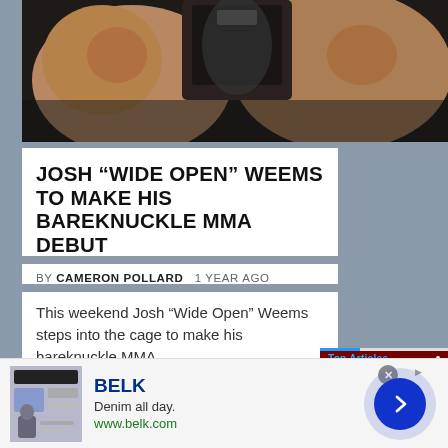[Figure (photo): Two MMA fighters, close-up of torsos and fists, dark background - top portion of page]
JOSH “WIDE OPEN” WEEMS TO MAKE HIS BAREKNUCKLE MMA DEBUT
BY CAMERON POLLARD   1 YEAR AGO
This weekend Josh “Wide Open” Weems steps into the cage to make his bareknuckle MMA
[Figure (screenshot): Right side panel showing MMA fighter (Kevin Holland) in arena, with Top Articles label, blue progress bar, three-dot menu, and blue arrow navigation button. Bottom shows 'Kevin Holland announces he's' text bar.]
[Figure (screenshot): Bottom-left small app screenshot showing EVENTS and MMA NE blue pill buttons over a dark MMA background]
[Figure (advertisement): BELK advertisement banner: 'Denim all day. www.belk.com' with small shopping app image on left, blue arrow button on right]